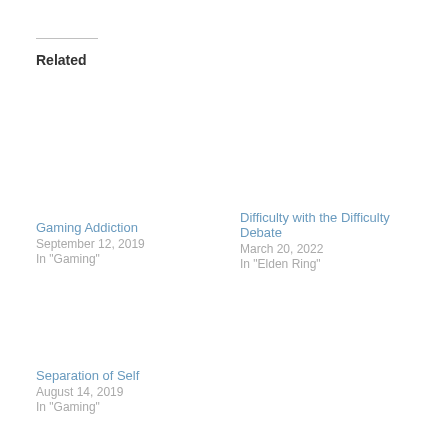Related
Gaming Addiction
September 12, 2019
In "Gaming"
Difficulty with the Difficulty Debate
March 20, 2022
In "Elden Ring"
Separation of Self
August 14, 2019
In "Gaming"